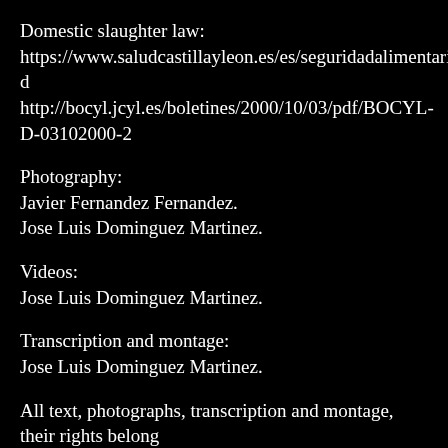Domestic slaughter law:
https://www.saludcastillayleon.es/es/seguridadalimentaria/matanza-d
http://bocyl.jcyl.es/boletines/2000/10/03/pdf/BOCYL-D-03102000-2
Photography:
Javier Fernandez Fernandez.
Jose Luis Dominguez Martinez.
Videos:
Jose Luis Dominguez Martinez.
Transcription and montage:
Jose Luis Dominguez Martinez.
All text, photographs, transcription and montage, their rights belong
All text and photography has been authorized for storage, treatmen authorized.